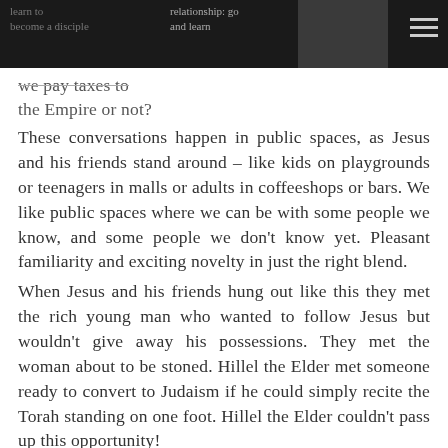we pay taxes to the Empire or not?
These conversations happen in public spaces, as Jesus and his friends stand around – like kids on playgrounds or teenagers in malls or adults in coffeeshops or bars. We like public spaces where we can be with some people we know, and some people we don't know yet. Pleasant familiarity and exciting novelty in just the right blend.
When Jesus and his friends hung out like this they met the rich young man who wanted to follow Jesus but wouldn't give away his possessions. They met the woman about to be stoned. Hillel the Elder met someone ready to convert to Judaism if he could simply recite the Torah standing on one foot. Hillel the Elder couldn't pass up this opportunity!
He picked up his foot and said: